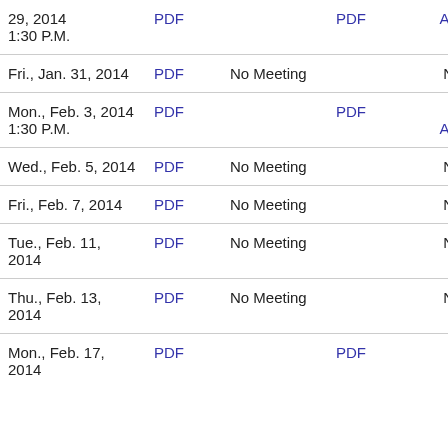| Date | PDF | Minutes | PDF | Audio/Video |
| --- | --- | --- | --- | --- |
| 29, 2014 1:30 P.M. | PDF |  | PDF | Audio/Video |
| Fri., Jan. 31, 2014 | PDF | No Meeting |  | No Meeting |
| Mon., Feb. 3, 2014 1:30 P.M. | PDF |  | PDF | Download Audio/Video |
| Wed., Feb. 5, 2014 | PDF | No Meeting |  | No Meeting |
| Fri., Feb. 7, 2014 | PDF | No Meeting |  | No Meeting |
| Tue., Feb. 11, 2014 | PDF | No Meeting |  | No Meeting |
| Thu., Feb. 13, 2014 | PDF | No Meeting |  | No Meeting |
| Mon., Feb. 17, 2014 | PDF |  | PDF | Download Audio/Video |